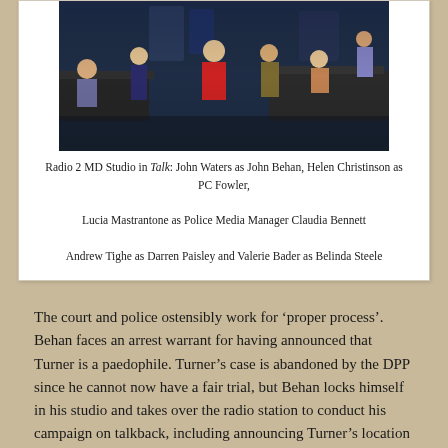[Figure (photo): Stage production photo showing actors on a radio studio set. Several performers are visible including a woman in a red dress center stage, other actors seated and standing around studio equipment and desks in a darkly lit theatrical setting.]
Radio 2 MD Studio in Talk: John Waters as John Behan, Helen Christinson as PC Fowler,

Lucia Mastrantone as Police Media Manager Claudia Bennett

Andrew Tighe as Darren Paisley and Valerie Bader as Belinda Steele
The court and police ostensibly work for ‘proper process’. Behan faces an arrest warrant for having announced that Turner is a paedophile. Turner’s case is abandoned by the DPP since he cannot now have a fair trial, but Behan locks himself in his studio and takes over the radio station to conduct his campaign on talkback, including announcing Turner’s location at his mother’s address. Social media combines with talkback radio to create a protest at that address which turns ugly. We hear his mother live on radio,